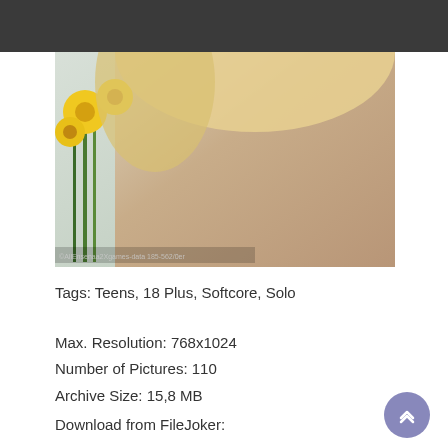[Figure (photo): Photograph of a young blonde woman holding yellow flowers, torso visible, studio setting with light background.]
Tags: Teens, 18 Plus, Softcore, Solo
Max. Resolution: 768x1024
Number of Pictures: 110
Archive Size: 15,8 MB
Download from FileJoker: